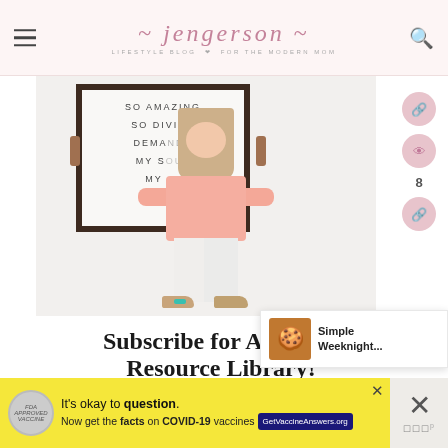jengerson — LIFESTYLE BLOG FOR THE MODERN MOM
[Figure (photo): Young girl with blonde hair wearing a pink top and white pants, holding a wooden framed sign that reads 'SO AMAZING SO DIVINE DEMANDS MY SOUL MY...' - the girl's back is facing the camera]
Subscribe for Access to Resource Library!
[Figure (photo): Notification popup showing food image with text 'Simple Weeknight...']
[Figure (other): Yellow advertisement banner: It's okay to question. Now get the facts on COVID-19 vaccines. GetVaccineAnswers.org]